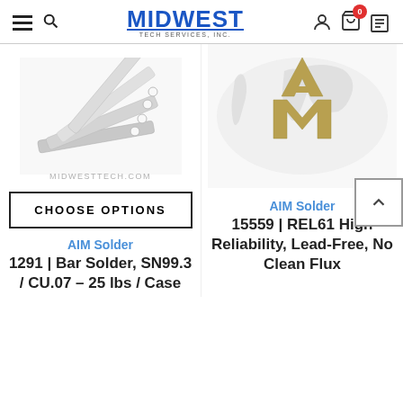[Figure (logo): Midwest Tech Services Inc. logo with hamburger menu and search icon on left, cart and account icons on right]
[Figure (photo): Silver bar solder sticks fanned out, product image for AIM Solder bar solder]
[Figure (logo): AIM Solder logo with gold AM letters on world map background]
CHOOSE OPTIONS
AIM Solder
AIM Solder
1291 | Bar Solder, SN99.3 / CU.07 – 25 lbs / Case
15559 | REL61 High Reliability, Lead-Free, No Clean Flux